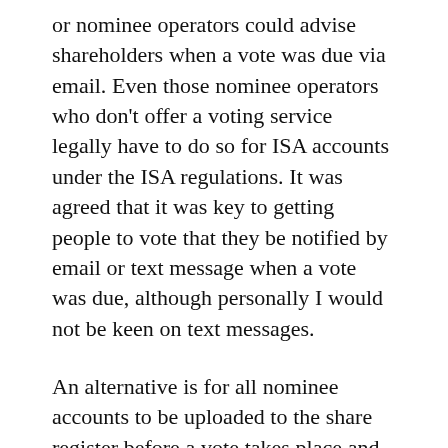or nominee operators could advise shareholders when a vote was due via email. Even those nominee operators who don't offer a voting service legally have to do so for ISA accounts under the ISA regulations. It was agreed that it was key to getting people to vote that they be notified by email or text message when a vote was due, although personally I would not be keen on text messages.
An alternative is for all nominee accounts to be uploaded to the share register before a vote takes place and then registrars could solicit votes from everyone. But there are potential timing issues here.